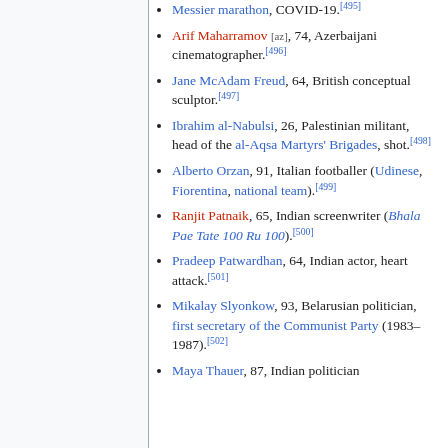Messier marathon, COVID-19.[495]
Arif Maharramov [az], 74, Azerbaijani cinematographer.[496]
Jane McAdam Freud, 64, British conceptual sculptor.[497]
Ibrahim al-Nabulsi, 26, Palestinian militant, head of the al-Aqsa Martyrs' Brigades, shot.[498]
Alberto Orzan, 91, Italian footballer (Udinese, Fiorentina, national team).[499]
Ranjit Patnaik, 65, Indian screenwriter (Bhala Pae Tate 100 Ru 100).[500]
Pradeep Patwardhan, 64, Indian actor, heart attack.[501]
Mikalay Slyonkow, 93, Belarusian politician, first secretary of the Communist Party (1983–1987).[502]
Maya Thauer, 87, Indian politician